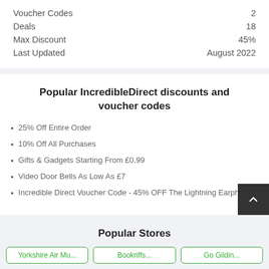|  |  |
| --- | --- |
| Voucher Codes | 2 |
| Deals | 18 |
| Max Discount | 45% |
| Last Updated | August 2022 |
Popular IncredibleDirect discounts and voucher codes
25% Off Entire Order
10% Off All Purchases
Gifts & Gadgets Starting From £0.99
Video Door Bells As Low As £7
Incredible Direct Voucher Code - 45% OFF The Lightning Earphones
Popular Stores